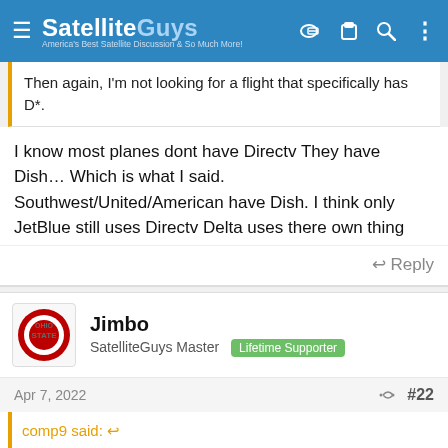SatelliteGuys — America's Best Satellite Discussion & So Much More!
Then again, I'm not looking for a flight that specifically has D*.
I know most planes dont have Directv They have Dish… Which is what I said. Southwest/United/American have Dish. I think only JetBlue still uses Directv Delta uses there own thing
↩ Reply
Jimbo
SatelliteGuys Master  Lifetime Supporter
Apr 7, 2022  #22
comp9 said: ↩